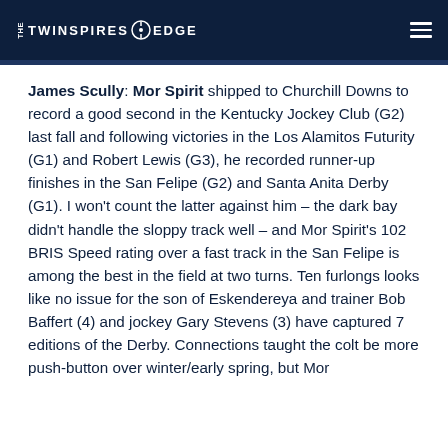THE TWINSPIRES EDGE
James Scully: Mor Spirit shipped to Churchill Downs to record a good second in the Kentucky Jockey Club (G2) last fall and following victories in the Los Alamitos Futurity (G1) and Robert Lewis (G3), he recorded runner-up finishes in the San Felipe (G2) and Santa Anita Derby (G1). I won't count the latter against him – the dark bay didn't handle the sloppy track well – and Mor Spirit's 102 BRIS Speed rating over a fast track in the San Felipe is among the best in the field at two turns. Ten furlongs looks like no issue for the son of Eskendereya and trainer Bob Baffert (4) and jockey Gary Stevens (3) have captured 7 editions of the Derby. Connections taught the colt be more push-button over winter/early spring, but Mor Spirit...